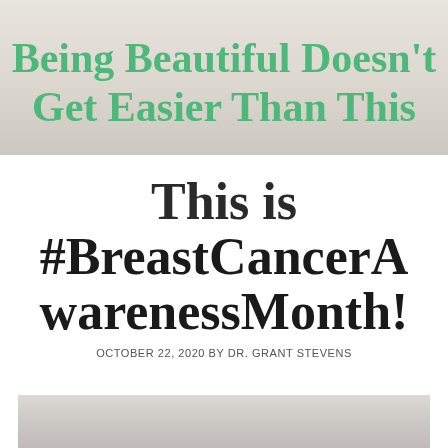Being Beautiful Doesn't Get Easier Than This
This is #BreastCancerAwarenessMonth!
OCTOBER 22, 2020 BY DR. GRANT STEVENS
[Figure (photo): Partial view of a photo at the bottom of the page, showing a light gray/beige gradient background]